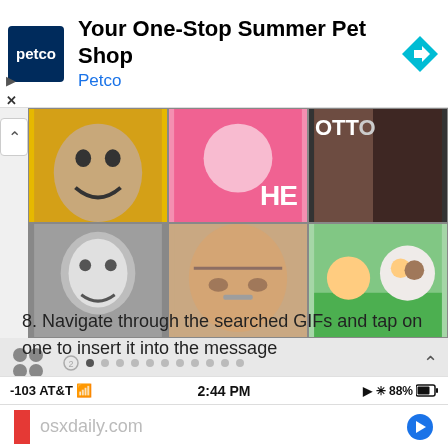[Figure (screenshot): Petco advertisement banner with logo, title 'Your One-Stop Summer Pet Shop', subtitle 'Petco', and a blue diamond navigation arrow icon]
[Figure (screenshot): GIF search carousel showing two rows of three GIFs each: top row has a yellow-background face, a pink cartoon with HE text, and a dark Otto/doorframe image; bottom row has a black-and-white portrait, a close-up face, and a cartoon scene. Bottom toolbar shows grid icon, pagination dots, and up chevron.]
8. Navigate through the searched GIFs and tap on one to insert it into the message
-103 AT&T  2:44 PM  88%  osxdaily.com